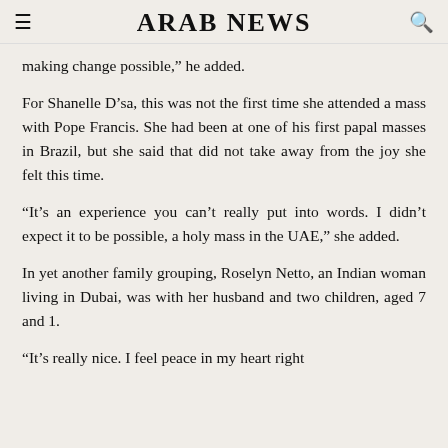ARAB NEWS
making change possible,” he added.
For Shanelle D’sa, this was not the first time she attended a mass with Pope Francis. She had been at one of his first papal masses in Brazil, but she said that did not take away from the joy she felt this time.
“It’s an experience you can’t really put into words. I didn’t expect it to be possible, a holy mass in the UAE,” she added.
In yet another family grouping, Roselyn Netto, an Indian woman living in Dubai, was with her husband and two children, aged 7 and 1.
“It’s really nice. I feel peace in my heart right